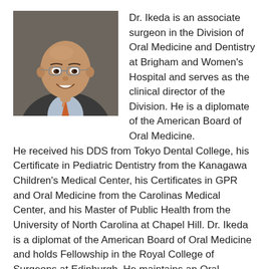[Figure (photo): Professional headshot of Dr. Ikeda, a bald man wearing glasses, a dark suit jacket, light blue dress shirt, and an orange patterned tie, smiling at the camera.]
Dr. Ikeda is an associate surgeon in the Division of Oral Medicine and Dentistry at Brigham and Women's Hospital and serves as the clinical director of the Division. He is a diplomate of the American Board of Oral Medicine. He received his DDS from Tokyo Dental College, his Certificate in Pediatric Dentistry from the Kanagawa Children's Medical Center, his Certificates in GPR and Oral Medicine from the Carolinas Medical Center, and his Master of Public Health from the University of North Carolina at Chapel Hill. Dr. Ikeda is a diplomat of the American Board of Oral Medicine and holds Fellowship in the Royal College of Surgeons at Edinburgh. He maintains an Oral Medicine practice at Brigham and Women's Hospital. His clinical and research interests are the management of oral mucosal diseases, orofacial pain, pediatric Oral Medicine, oral manifestations of systemic diseases, drug-induced oral complications, and oral care